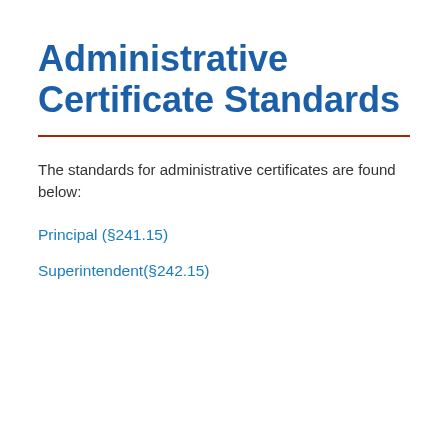Administrative Certificate Standards
The standards for administrative certificates are found below:
Principal (§241.15)
Superintendent(§242.15)